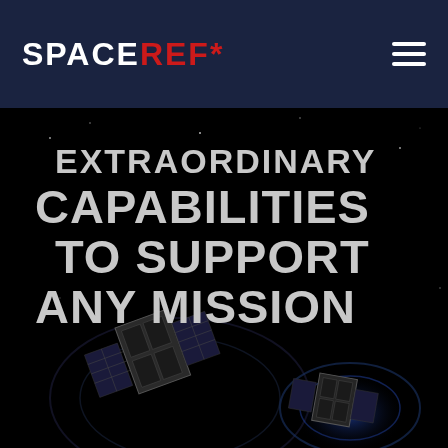[Figure (logo): SpaceRef logo in white bold text with REF* in red, on dark navy background navigation bar with hamburger menu icon on the right]
[Figure (photo): Dark space background with two small satellites (CubeSats) visible in the lower portion against a black starfield with circular light ring effects. Bold white text overlaid reads: EXTRAORDINARY CAPABILITIES TO SUPPORT ANY MISSION]